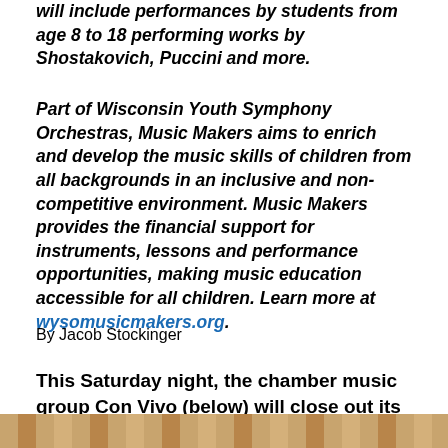will include performances by students from age 8 to 18 performing works by Shostakovich, Puccini and more.
Part of Wisconsin Youth Symphony Orchestras, Music Makers aims to enrich and develop the music skills of children from all backgrounds in an inclusive and non-competitive environment. Music Makers provides the financial support for instruments, lessons and performance opportunities, making music education accessible for all children. Learn more at wysomusicmakers.org.
By Jacob Stockinger
This Saturday night, the chamber music group Con Vivo (below) will close out its 17th season.
[Figure (photo): Bottom strip of a photograph showing musicians, partially visible at the bottom of the page]